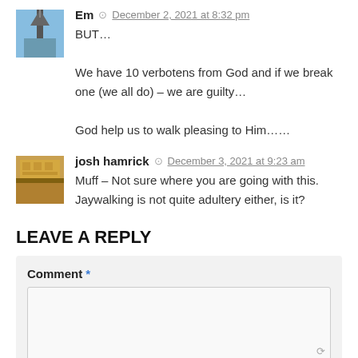[Figure (photo): Small square avatar image of a church steeple against a blue sky]
Em  December 2, 2021 at 8:32 pm
BUT...
We have 10 verbotens from God and if we break one (we all do) – we are guilty…
God help us to walk pleasing to Him……
[Figure (photo): Small square avatar image of a building exterior with decorative wooden facade]
josh hamrick  December 3, 2021 at 9:23 am
Muff – Not sure where you are going with this. Jaywalking is not quite adultery either, is it?
LEAVE A REPLY
Comment *